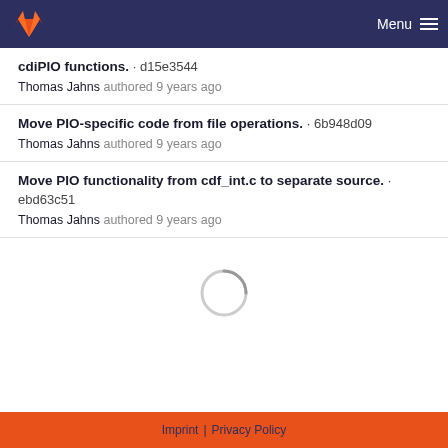GitLab — Menu
cdiPIO functions. · d15e3544
Thomas Jahns authored 9 years ago
Move PIO-specific code from file operations. · 6b948d09
Thomas Jahns authored 9 years ago
Move PIO functionality from cdf_int.c to separate source. · ebd63c51
Thomas Jahns authored 9 years ago
[Figure (other): Loading spinner circle indicator]
Imprint | Privacy Policy